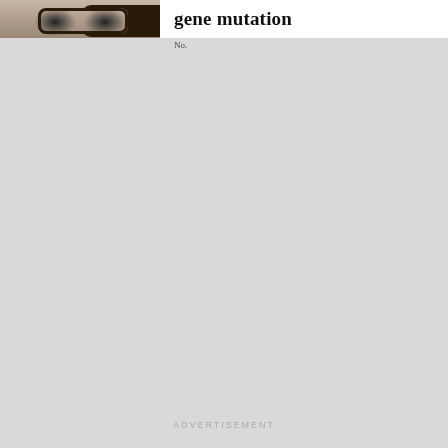[Figure (photo): Partial face of a person wearing glasses, cropped at top of page]
gene mutation
No.
ADVERTISEMENT